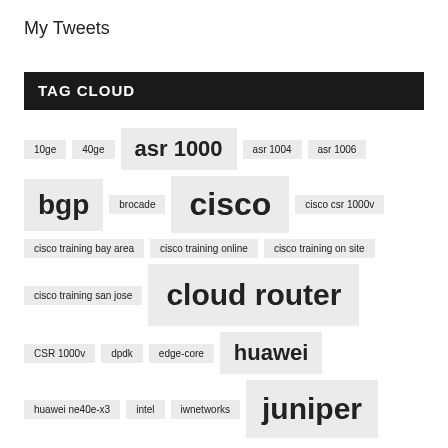My Tweets
TAG CLOUD
[Figure (infographic): Tag cloud containing networking-related tags of various sizes: 10ge, 40ge, asr 1000 (large), asr 1004, asr 1006, bgp (large), brocade, cisco (very large), cisco csr 1000v, cisco training bay area, cisco training online, cisco training on site, cisco training san jose, cloud router (very large), CSR 1000v, dpdk, edge-core, huawei (large), huawei ne40e-x3, intel, iwnetworks, juniper (very large)]